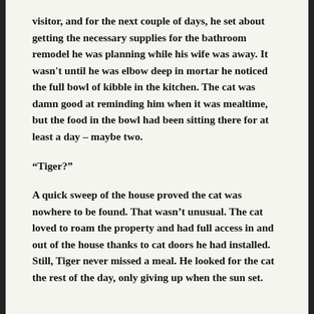visitor, and for the next couple of days, he set about getting the necessary supplies for the bathroom remodel he was planning while his wife was away. It wasn't until he was elbow deep in mortar he noticed the full bowl of kibble in the kitchen. The cat was damn good at reminding him when it was mealtime, but the food in the bowl had been sitting there for at least a day – maybe two.
“Tiger?”
A quick sweep of the house proved the cat was nowhere to be found. That wasn’t unusual. The cat loved to roam the property and had full access in and out of the house thanks to cat doors he had installed. Still, Tiger never missed a meal. He looked for the cat the rest of the day, only giving up when the sun set.